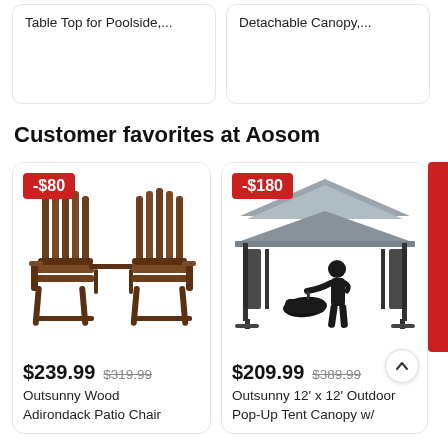Table Top for Poolside,...
Detachable Canopy,...
Customer favorites at Aosom
[Figure (photo): Outsunny Wood Adirondack Patio Chair double seat wooden bench with center table, brown wood finish]
$239.99  $319.99
Outsunny Wood Adirondack Patio Chair
[Figure (photo): Outsunny 12' x 12' Outdoor Pop-Up Tent Canopy with dark grey roof and black curtain panels, person silhouette carrying bag]
$209.99  $389.99
Outsunny 12' x 12' Outdoor Pop-Up Tent Canopy w/